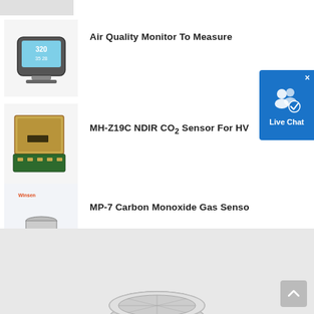[Figure (photo): Partially visible product image at top, cropped]
[Figure (photo): Air Quality Monitor device with digital display screen]
Air Quality Monitor To Measure
[Figure (photo): MH-Z19C NDIR CO2 Sensor gold-colored module with circuit board]
MH-Z19C NDIR CO2 Sensor For HV
[Figure (photo): MP-7 Carbon Monoxide Gas Sensor small cylindrical component with Winsen logo]
MP-7 Carbon Monoxide Gas Senso
[Figure (photo): Live Chat widget badge in blue with user icon and checkmark]
[Figure (photo): Bottom gray section showing partial view of a circular sensor product]
[Figure (other): Scroll to top arrow button in gray]